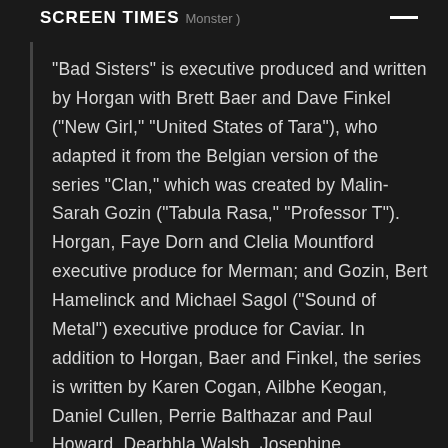SCREEN TIMES (Monster)
“Bad Sisters” is executive produced and written by Horgan with Brett Baer and Dave Finkel (“New Girl,” “United States of Tara”), who adapted it from the Belgian version of the series “Clan,” which was created by Malin-Sarah Gozin (“Tabula Rasa,” “Professor T”). Horgan, Faye Dorn and Clelia Mountford executive produce for Merman; and Gozin, Bert Hamelinck and Michael Sagol (“Sound of Metal”) executive produce for Caviar. In addition to Horgan, Baer and Finkel, the series is written by Karen Cogan, Ailbhe Keogan, Daniel Cullen, Perrie Balthazar and Paul Howard. Dearbhla Walsh, Josephine Bornebusch and Rebecca Gatward serve as directors with